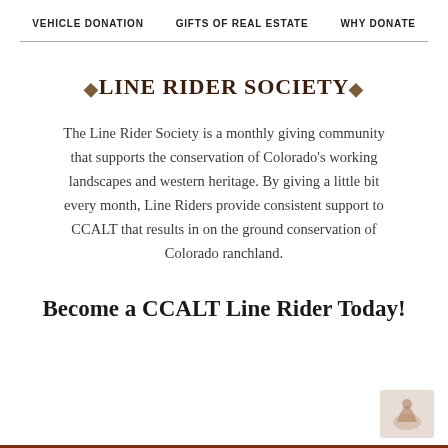VEHICLE DONATION   GIFTS OF REAL ESTATE   WHY DONATE
◆LINE RIDER SOCIETY◆
The Line Rider Society is a monthly giving community that supports the conservation of Colorado's working landscapes and western heritage. By giving a little bit every month, Line Riders provide consistent support to CCALT that results in on the ground conservation of Colorado ranchland.
Become a CCALT Line Rider Today!